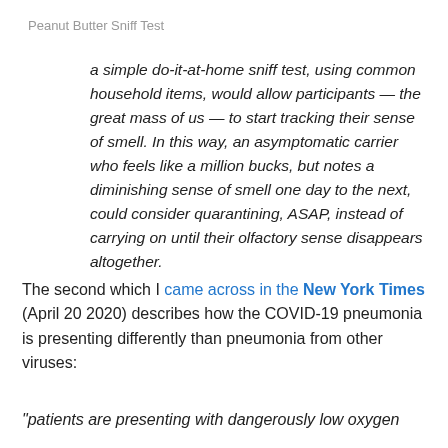Peanut Butter Sniff Test
a simple do-it-at-home sniff test, using common household items, would allow participants — the great mass of us — to start tracking their sense of smell. In this way, an asymptomatic carrier who feels like a million bucks, but notes a diminishing sense of smell one day to the next, could consider quarantining, ASAP, instead of carrying on until their olfactory sense disappears altogether.
The second which I came across in the New York Times (April 20 2020) describes how the COVID-19 pneumonia is presenting differently than pneumonia from other viruses:
“patients are presenting with dangerously low oxygen levels, not visible as serious...